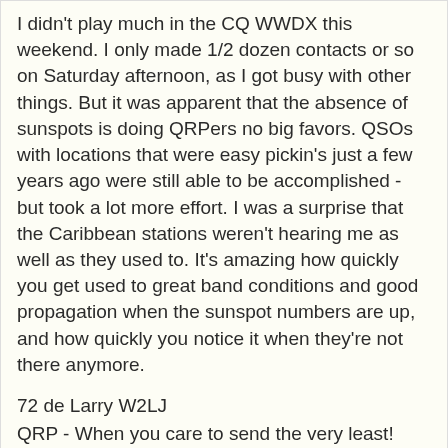I didn't play much in the CQ WWDX this weekend. I only made 1/2 dozen contacts or so on Saturday afternoon, as I got busy with other things. But it was apparent that the absence of sunspots is doing QRPers no big favors. QSOs with locations that were easy pickin's just a few years ago were still able to be accomplished - but took a lot more effort. I was a surprise that the Caribbean stations weren't hearing me as well as they used to. It's amazing how quickly you get used to great band conditions and good propagation when the sunspot numbers are up, and how quickly you notice it when they're not there anymore.
72 de Larry W2LJ
QRP - When you care to send the very least!
QRP - When you care to send the very least! at 8:58 AM
1 comment:
Share
Thursday, November 23, 2017